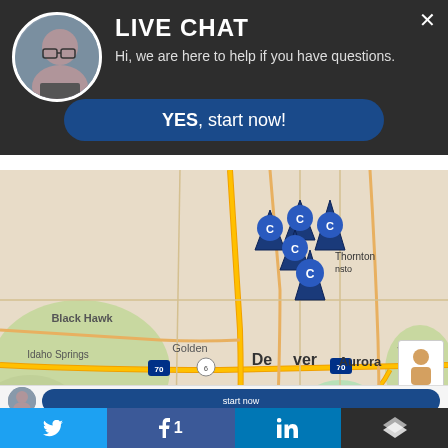[Figure (screenshot): Live chat popup overlay on a Google Maps view of Denver, CO area with car dealership location pins, social share buttons at bottom, and a YES start now button.]